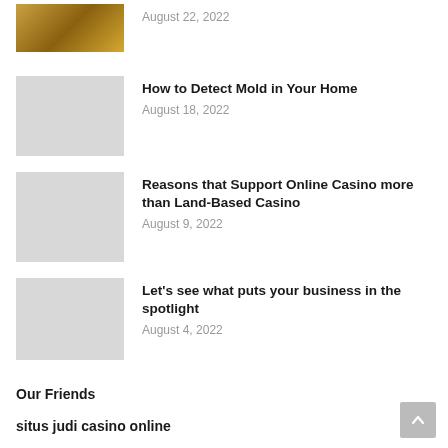August 22, 2022
[Figure (photo): Thumbnail photo with golden/warm tones at top]
[Figure (photo): Gray placeholder thumbnail for Mold article]
How to Detect Mold in Your Home
August 18, 2022
[Figure (photo): Gray placeholder thumbnail for Casino article]
Reasons that Support Online Casino more than Land-Based Casino
August 9, 2022
[Figure (photo): Gray placeholder thumbnail for business spotlight article]
Let's see what puts your business in the spotlight
August 4, 2022
Our Friends
situs judi casino online